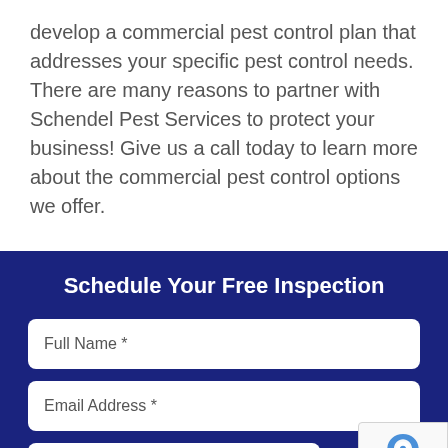develop a commercial pest control plan that addresses your specific pest control needs. There are many reasons to partner with Schendel Pest Services to protect your business! Give us a call today to learn more about the commercial pest control options we offer.
Schedule Your Free Inspection
Full Name *
Email Address *
Phone number *